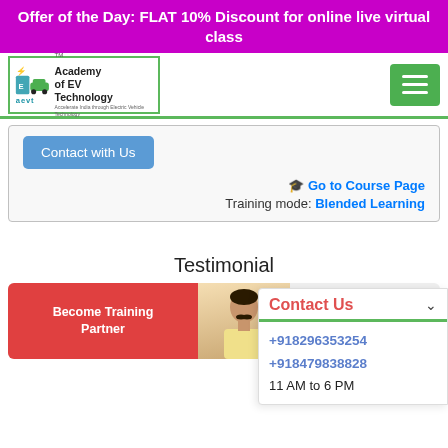Offer of the Day: FLAT 10% Discount for online live virtual class
[Figure (logo): Academy of EV Technology logo with lightning bolt and car icon]
Contact with Us
🎓 Go to Course Page
Training mode: Blended Learning
Testimonial
Become Training Partner
Contact Us
+918296353254
+918479838828
11 AM to 6 PM